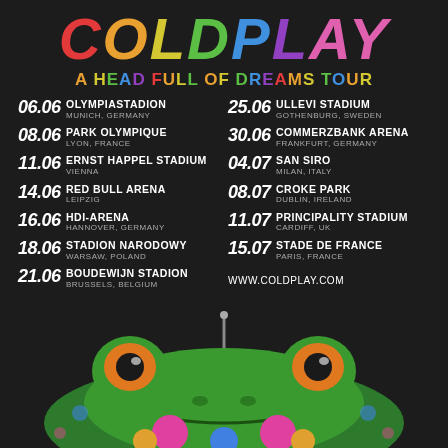COLDPLAY
A HEAD FULL OF DREAMS TOUR
06.06 OLYMPIASTADION MUNICH, GERMANY
08.06 PARK OLYMPIQUE LYON, FRANCE
11.06 ERNST HAPPEL STADIUM VIENNA
14.06 RED BULL ARENA LEIPZIG
16.06 HDI-ARENA HANNOVER, GERMANY
18.06 STADION NARODOWY WARSAW, POLAND
21.06 BOUDEWIJN STADION BRUSSELS, BELGIUM
25.06 ULLEVI STADIUM GOTHENBURG, SWEDEN
30.06 COMMERZBANK ARENA FRANKFURT, GERMANY
04.07 SAN SIRO MILAN, ITALY
08.07 CROKE PARK DUBLIN, IRELAND
11.07 PRINCIPALITY STADIUM CARDIFF, UK
15.07 STADE DE FRANCE PARIS, FRANCE
WWW.COLDPLAY.COM
[Figure (illustration): Colorful illustrated frog/animal face at the bottom of the poster]